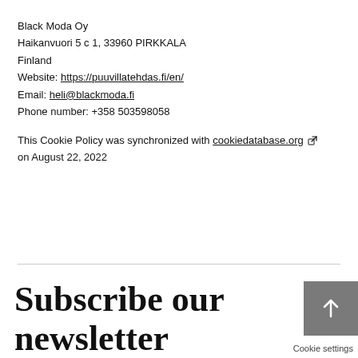Black Moda Oy
Haikanvuori 5 c 1, 33960 PIRKKALA
Finland
Website: https://puuvillatehdas.fi/en/
Email: heli@blackmoda.fi
Phone number: +358 503598058

This Cookie Policy was synchronized with cookiedatabase.org on August 22, 2022
Subscribe our newsletter